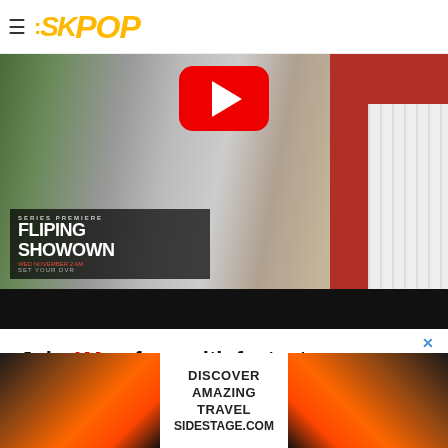SKPOP
[Figure (screenshot): Video thumbnail showing two people standing outside a red barn. Large red YouTube play button overlay at top center. Bottom-left overlay shows 'SERIES PREMIERE / FLIPING SHOWDOWN / Wed November 2 AM / SET YOUR DVR'. Black bar below video area.]
[Figure (infographic): App advertisement: 'Join 1Mn+ fans with fastest live scores, news & commentary' with red INSTALL NOW button and SK app icon showing 4.3 star rating]
[Figure (screenshot): Bottom banner ad with sunset/travel imagery on left and right: 'DISCOVER AMAZING TRAVEL SIDESTAGE.COM']